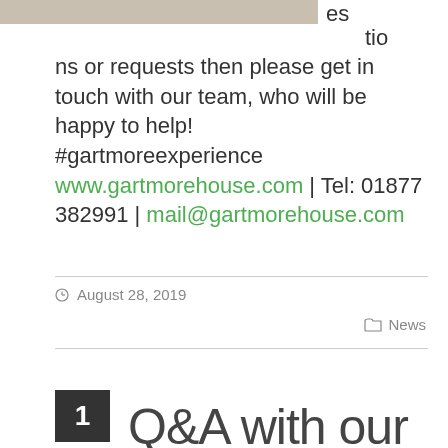[Figure (photo): Partial bottom edge of a food photo, cropped at top of page]
es tio ns or requests then please get in touch with our team, who will be happy to help! #gartmoreexperience www.gartmorehouse.com | Tel: 01877 382991 | mail@gartmorehouse.com
August 28, 2019
News
Q&A with our